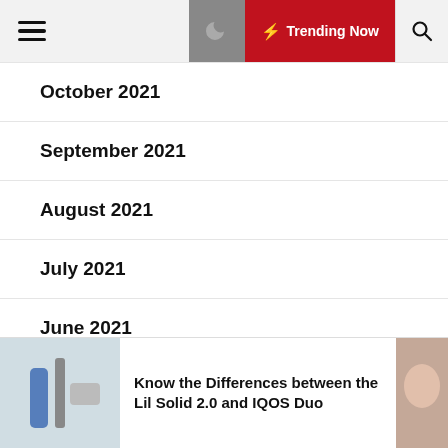Trending Now
October 2021
September 2021
August 2021
July 2021
June 2021
May 2021
April 2021
Know the Differences between the Lil Solid 2.0 and IQOS Duo